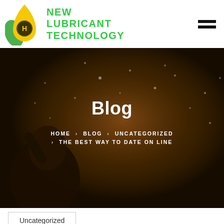NEW LUBRICANT TECHNOLOGY
[Figure (screenshot): Website hero banner showing a person welding with sparks flying, dark amber overlay, with 'Blog' title and breadcrumb navigation: HOME > BLOG > UNCATEGORIZED > THE BEST WAY TO DATE ON LINE]
Blog
HOME > BLOG > UNCATEGORIZED > THE BEST WAY TO DATE ON LINE
Uncategorized